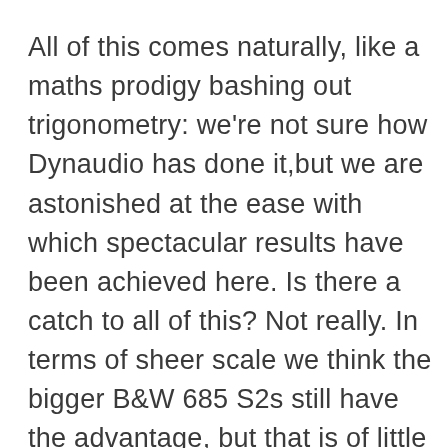All of this comes naturally, like a maths prodigy bashing out trigonometry: we're not sure how Dynaudio has done it,but we are astonished at the ease with which spectacular results have been achieved here. Is there a catch to all of this? Not really. In terms of sheer scale we think the bigger B&W 685 S2s still have the advantage, but that is of little concern when the Dynaudios are really not that far behind and ahead in every other sonic department.It's not just the sound, either. We really like the look and build quality of the Emit 10s, which make the B&Ws look a little cheaply made. They are also easy to